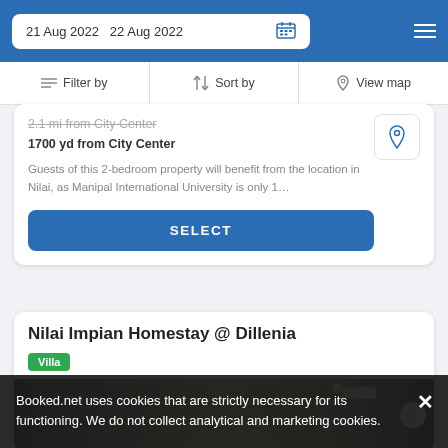21 Aug 2022  22 Aug 2022
Filter by  |  Sort by  |  View map
2.1 mi from City Center
1700 yd from City Center
Guests of this 2-bedroom property will benefit from the location in Nilai, as Manipal International University is only 1…
SELECT
Nilai Impian Homestay @ Dillenia
Villa
[Figure (photo): Interior room photo showing curtains, air conditioning unit, and ceiling light]
Booked.net uses cookies that are strictly necessary for its functioning. We do not collect analytical and marketing cookies.